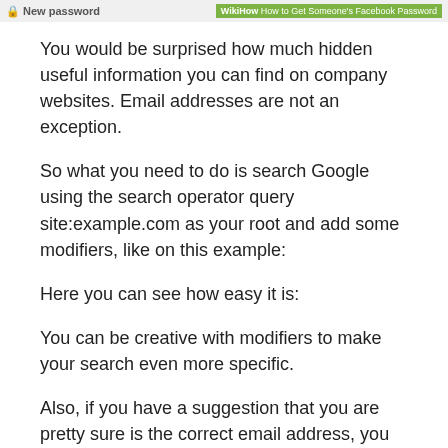New password | How to Get Someone's Facebook Password
You would be surprised how much hidden useful information you can find on company websites. Email addresses are not an exception.
So what you need to do is search Google using the search operator query site:example.com as your root and add some modifiers, like on this example:
Here you can see how easy it is:
You can be creative with modifiers to make your search even more specific.
Also, if you have a suggestion that you are pretty sure is the correct email address, you can try to search it on the company website in this way: